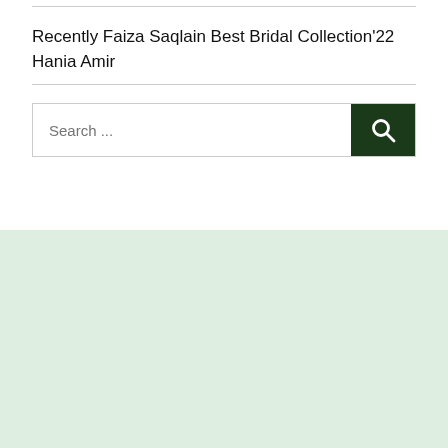Recently Faiza Saqlain Best Bridal Collection'22 Hania Amir
[Figure (other): Search bar with dark green search button and magnifying glass icon]
[Figure (other): Light green/mint colored background section at bottom of page]